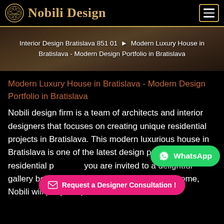Nobili Design
[Figure (screenshot): Breadcrumb hero image showing interior design background with text: Interior Design Bratislava 851 01 ▶ Modern Luxury House in Bratislava - Modern Design Portfolio in Bratislava]
Modern Luxury House in Bratislava - Modern Design Portfolio in Bratislava
Nobili design firm is a team of architects and interior designers that focuses on creating unique residential projects in Bratislava. This modern luxurious house in Bratislava is one of the latest design projects from our residential p... you are invited to a delightful gallery below. As long as you need a u... home, Nobili will put you up with modern Italian furniture...